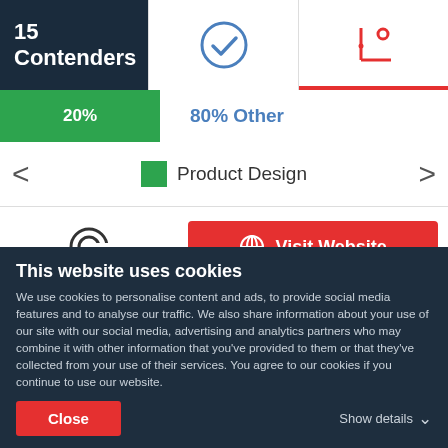15 Contenders
[Figure (infographic): Three-column top bar: title block '15 Contenders', center column with a checkmark icon, right column with a scatter-plot-style icon and a red underline indicator]
[Figure (infographic): Progress bar row: green bar showing 20%, remaining bar area labeled '80% Other' in blue]
[Figure (infographic): Navigation row with left and right chevron arrows, green square legend and 'Product Design' label]
[Figure (infographic): Action row with Criteo logo (C icon) on left and red 'Visit Website' button with globe icon on right]
[Figure (infographic): Partial row below with green bar segment on left, empty mid section, bookmark icon on right]
This website uses cookies
We use cookies to personalise content and ads, to provide social media features and to analyse our traffic. We also share information about your use of our site with our social media, advertising and analytics partners who may combine it with other information that you've provided to them or that they've collected from your use of their services. You agree to our cookies if you continue to use our website.
Close
Show details